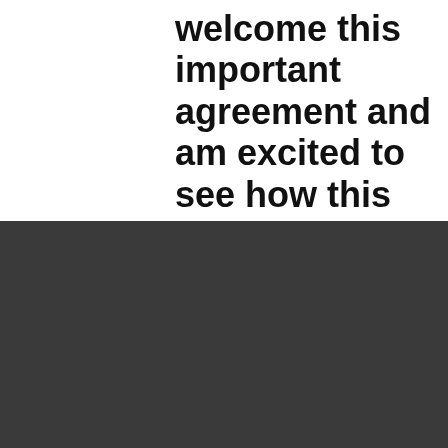welcome this important agreement and am excited to see how this collaboration can help maintain the landscape, and develop natural
We use cookies to enable helpful features and collect information about how well our website and advertising are working.
Accept all cookies
Manage your cookie preferences